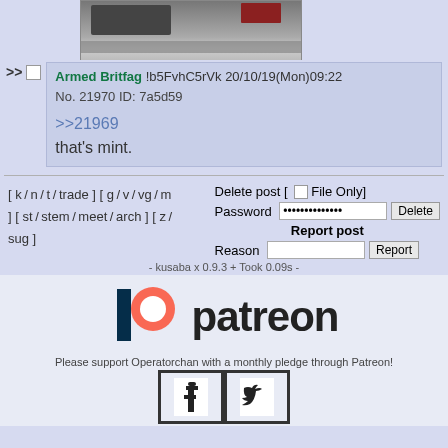[Figure (photo): Partial view of a vehicle (truck/van) on a road, top portion cropped]
>> Armed Britfag !b5FvhC5rVk 20/10/19(Mon)09:22
No. 21970 ID: 7a5d59
>>21969
that's mint.
[ k / n / t / trade ] [ g / v / vg / m ] [ st / stem / meet / arch ] [ z / sug ]
Delete post [ File Only]
Password •••••••••••••••  Delete
Report post
Reason  Report
- kusaba x 0.9.3 + Took 0.09s -
[Figure (logo): Patreon logo with orange P icon and dark 'patreon' wordmark]
Please support Operatorchan with a monthly pledge through Patreon!
[Figure (illustration): Facebook and Twitter social media icons in square boxes]